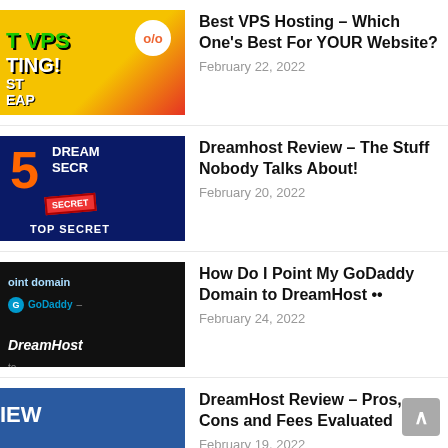Best VPS Hosting – Which One's Best For YOUR Website?
February 22, 2022
Dreamhost Review – The Stuff Nobody Talks About!
February 20, 2022
How Do I Point My GoDaddy Domain to DreamHost ••
February 24, 2022
DreamHost Review – Pros, Cons and Fees Evaluated
February 19, 2022
Best WordPress Hosting? | Bluehost vs. SiteGround vs. DreamHost COMPARED